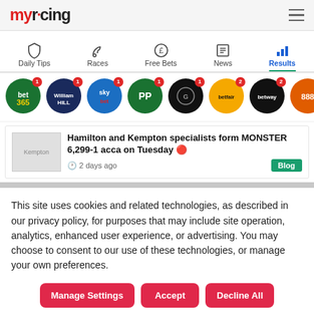myracing
[Figure (other): Navigation icons row: Daily Tips (shield), Races (horse), Free Bets (pound coin), News (newspaper), Results (bar chart, active/blue)]
[Figure (other): Horizontal scrolling row of bookmaker logo circles: bet365 (1), William Hill (1), Sky Bet (1), Paddy Power (1), Grosvenor Sport (1), Betfair (2), Betway (2), 888sport (3)]
Hamilton and Kempton specialists form MONSTER 6,299-1 acca on Tuesday 🔴
2 days ago  Blog
This site uses cookies and related technologies, as described in our privacy policy, for purposes that may include site operation, analytics, enhanced user experience, or advertising. You may choose to consent to our use of these technologies, or manage your own preferences.
Manage Settings  Accept  Decline All